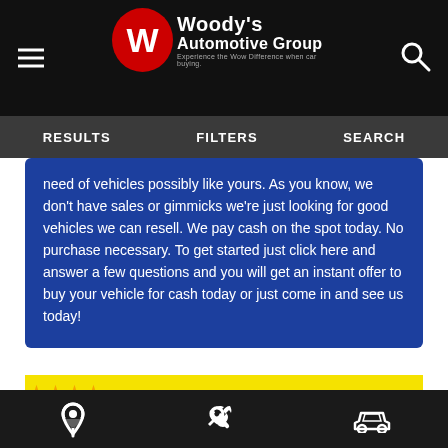Woody's Automotive Group — Experience the Wow Difference when car buying.
RESULTS | FILTERS | SEARCH
need of vehicles possibly like yours. As you know, we don't have sales or gimmicks we're just looking for good vehicles we can resell. We pay cash on the spot today. No purchase necessary. To get started just click here and answer a few questions and you will get an instant offer to buy your vehicle for cash today or just come in and see us today!
[Figure (photo): Yellow banner with gold stars reading '5 Star Rated Dealer, 10,000+ Customer Reviews from all over the U.S.A!']
[Figure (photo): Black Mercedes-Benz Sprinter van photographed in a parking lot on an overcast day]
Location | Service/Wrench | Car icons